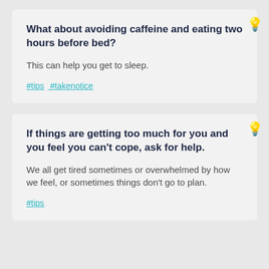What about avoiding caffeine and eating two hours before bed?
This can help you get to sleep.
#tips #takenotice
If things are getting too much for you and you feel you can't cope, ask for help.
We all get tired sometimes or overwhelmed by how we feel, or sometimes things don't go to plan.
#tips